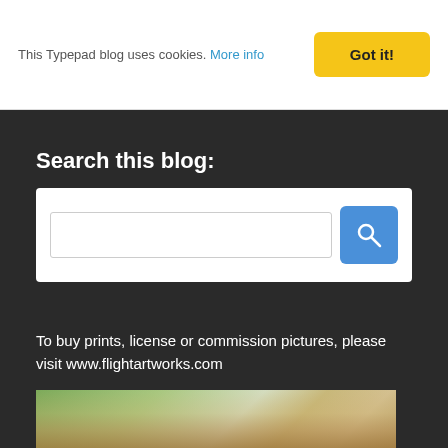This Typepad blog uses cookies. More info
Got it!
Search this blog:
[Figure (screenshot): Search input field with blue search button icon]
To buy prints, license or commission pictures, please visit www.flightartworks.com
[Figure (photo): Photo of a blonde person outdoors with greenery in background]